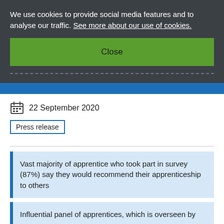We use cookies to provide social media features and to analyse our traffic. See more about our use of cookies.
Close
22 September 2020
Press release
Vast majority of apprentice who took part in survey (87%) say they would recommend their apprenticeship to others
Influential panel of apprentices, which is overseen by